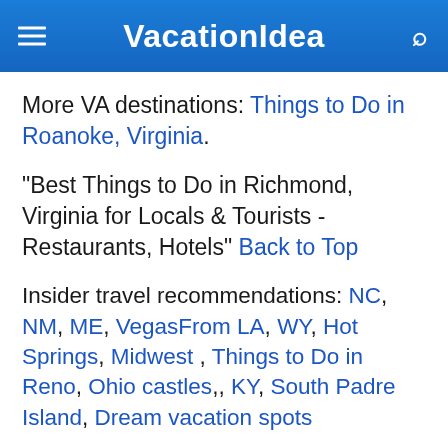VacationIdea
More VA destinations: Things to Do in Roanoke, Virginia.
"Best Things to Do in Richmond, Virginia for Locals & Tourists - Restaurants, Hotels" Back to Top
Insider travel recommendations: NC, NM, ME, VegasFrom LA, WY, Hot Springs, Midwest , Things to Do in Reno, Ohio castles,, KY, South Padre Island, Dream vacation spots